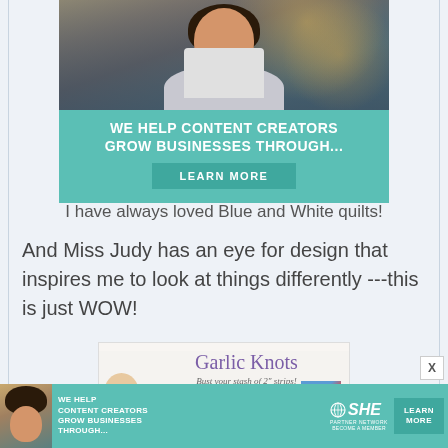[Figure (photo): Advertisement banner showing a woman smiling at a laptop with teal background. Text reads 'WE HELP CONTENT CREATORS GROW BUSINESSES THROUGH...' with a LEARN MORE button.]
I have always loved Blue and White quilts!
And Miss Judy has an eye for design that inspires me to look at things differently ---this is just WOW!
[Figure (photo): Image showing 'Garlic Knots - Bust your stash of 2" strips!' book or pattern cover with a woman's photo and a quilt block.]
[Figure (photo): Bottom advertisement banner: WE HELP CONTENT CREATORS GROW BUSINESSES THROUGH... with SHE Partner Network logo and LEARN MORE button.]